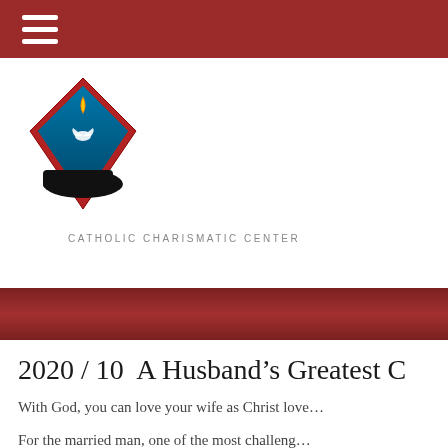[Figure (logo): Catholic Charismatic Center diamond-shaped logo with flame and crowd silhouette]
CATHOLIC CHARISMATIC CENTER
2020/10  A Husband's Greatest C
With God, you can love your wife as Christ love...
For the married man, one of the most challenging... whole of Scripture is Ephesians 5:25: “Husband...